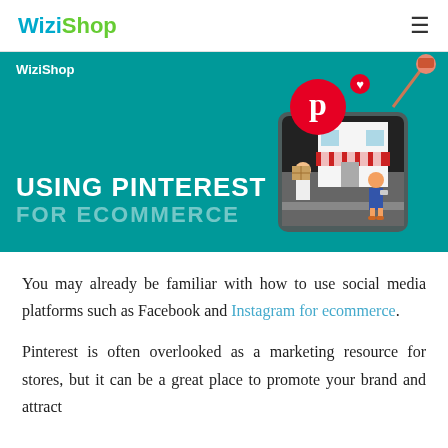WiziShop
[Figure (illustration): WiziShop banner with teal background showing 'USING PINTEREST FOR ECOMMERCE' title text, a Pinterest logo (red circle with white P), a storefront building with red and white striped awning on a smartphone, a delivery person with a box, a woman with a mobile device, and a pink pushpin in the top right corner. 'WiziShop' logo appears in white in the top left of the banner.]
You may already be familiar with how to use social media platforms such as Facebook and Instagram for ecommerce.
Pinterest is often overlooked as a marketing resource for stores, but it can be a great place to promote your brand and attract